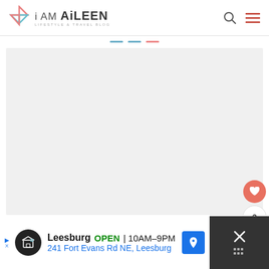i AM AiLEEN - LIFESTYLE & TRAVEL BLOG
[Figure (screenshot): Large empty/loading image area with light gray background]
[Figure (infographic): Floating sidebar with heart button (salmon/red), count '3', and share button]
[Figure (screenshot): Advertisement bar at bottom: Leesburg OPEN 10AM-9PM, 241 Fort Evans Rd NE, Leesburg]